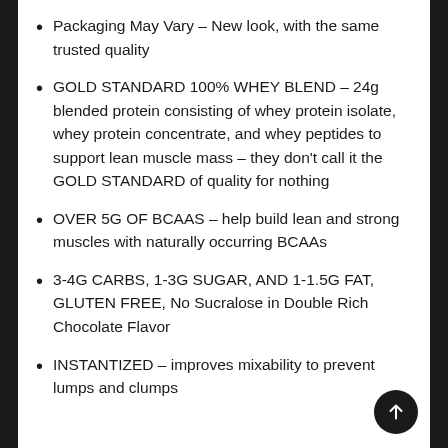Packaging May Vary – New look, with the same trusted quality
GOLD STANDARD 100% WHEY BLEND – 24g blended protein consisting of whey protein isolate, whey protein concentrate, and whey peptides to support lean muscle mass – they don't call it the GOLD STANDARD of quality for nothing
OVER 5G OF BCAAS – help build lean and strong muscles with naturally occurring BCAAs
3-4G CARBS, 1-3G SUGAR, AND 1-1.5G FAT, GLUTEN FREE, No Sucralose in Double Rich Chocolate Flavor
INSTANTIZED – improves mixability to prevent lumps and clumps